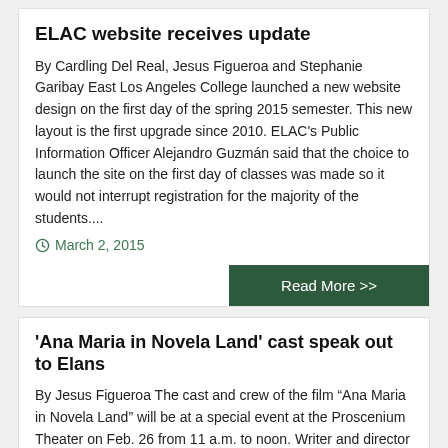ELAC website receives update
By Cardling Del Real, Jesus Figueroa and Stephanie Garibay East Los Angeles College launched a new website design on the first day of the spring 2015 semester. This new layout is the first upgrade since 2010. ELAC's Public Information Officer Alejandro Guzmán said that the choice to launch the site on the first day of classes was made so it would not interrupt registration for the majority of the students....
March 2, 2015
Read More >>
'Ana Maria in Novela Land' cast speak out to Elans
By Jesus Figueroa The cast and crew of the film "Ana Maria in Novela Land" will be at a special event at the Proscenium Theater on Feb. 26 from 11 a.m. to noon. Writer and director Georgina Garcia Riedel, novela star Michael Steger and comedian Luis Guzman will be participating in a Q&A to talk about their roles in the making of "Ana Maria in Novela Land"